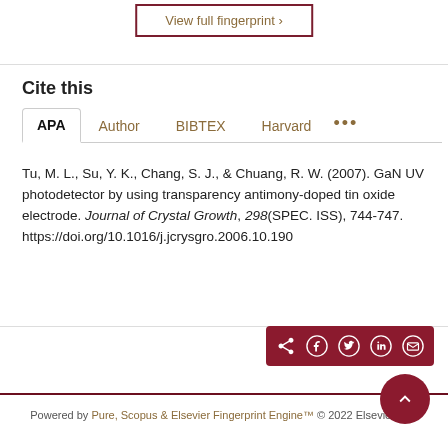View full fingerprint ›
Cite this
APA   Author   BIBTEX   Harvard   •••
Tu, M. L., Su, Y. K., Chang, S. J., & Chuang, R. W. (2007). GaN UV photodetector by using transparency antimony-doped tin oxide electrode. Journal of Crystal Growth, 298(SPEC. ISS), 744-747. https://doi.org/10.1016/j.jcrysgro.2006.10.190
Powered by Pure, Scopus & Elsevier Fingerprint Engine™ © 2022 Elsevier B.V.